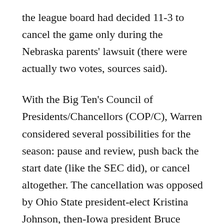the league board had decided 11-3 to cancel the game only during the Nebraska parents' lawsuit (there were actually two votes, sources said).
With the Big Ten's Council of Presidents/Chancellors (COP/C), Warren considered several possibilities for the season: pause and review, push back the start date (like the SEC did), or cancel altogether. The cancellation was opposed by Ohio State president-elect Kristina Johnson, then-Iowa president Bruce Harreld, and Nebraska chancellor Ronnie Green.